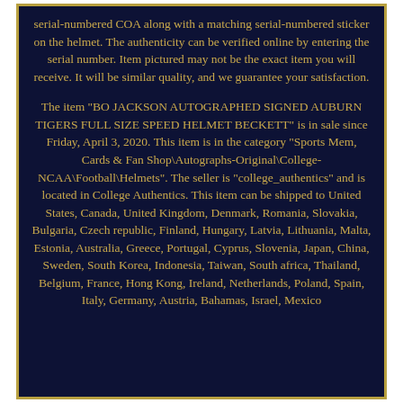serial-numbered COA along with a matching serial-numbered sticker on the helmet. The authenticity can be verified online by entering the serial number. Item pictured may not be the exact item you will receive. It will be similar quality, and we guarantee your satisfaction.
The item "BO JACKSON AUTOGRAPHED SIGNED AUBURN TIGERS FULL SIZE SPEED HELMET BECKETT" is in sale since Friday, April 3, 2020. This item is in the category "Sports Mem, Cards & Fan Shop\Autographs-Original\College-NCAA\Football\Helmets". The seller is "college_authentics" and is located in College Authentics. This item can be shipped to United States, Canada, United Kingdom, Denmark, Romania, Slovakia, Bulgaria, Czech republic, Finland, Hungary, Latvia, Lithuania, Malta, Estonia, Australia, Greece, Portugal, Cyprus, Slovenia, Japan, China, Sweden, South Korea, Indonesia, Taiwan, South africa, Thailand, Belgium, France, Hong Kong, Ireland, Netherlands, Poland, Spain, Italy, Germany, Austria, Bahamas, Israel, Mexico